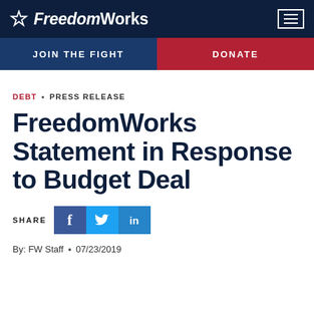FreedomWorks
[Figure (logo): FreedomWorks logo with star icon on dark navy background]
JOIN THE FIGHT | DONATE
DEBT · PRESS RELEASE
FreedomWorks Statement in Response to Budget Deal
SHARE
By: FW Staff · 07/23/2019